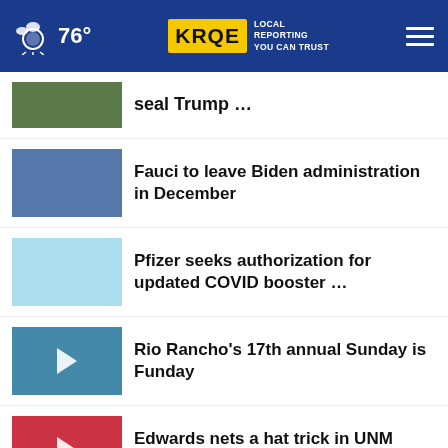76° KRQE LOCAL REPORTING YOU CAN TRUST
seal Trump …
Fauci to leave Biden administration in December
Pfizer seeks authorization for updated COVID booster …
Rio Rancho's 17th annual Sunday is Funday
Edwards nets a hat trick in UNM Soccer victory
Hope Solo opens up about DWI arrest, raising kids …